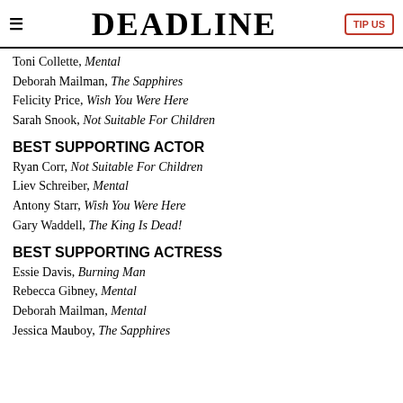DEADLINE
Toni Collette, Mental
Deborah Mailman, The Sapphires
Felicity Price, Wish You Were Here
Sarah Snook, Not Suitable For Children
BEST SUPPORTING ACTOR
Ryan Corr, Not Suitable For Children
Liev Schreiber, Mental
Antony Starr, Wish You Were Here
Gary Waddell, The King Is Dead!
BEST SUPPORTING ACTRESS
Essie Davis, Burning Man
Rebecca Gibney, Mental
Deborah Mailman, Mental
Jessica Mauboy, The Sapphires